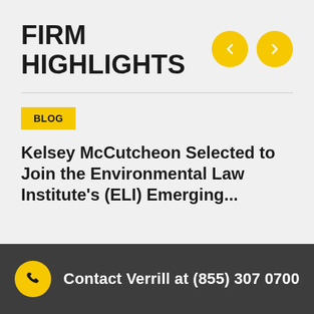FIRM HIGHLIGHTS
[Figure (other): Navigation buttons: left arrow and right arrow in yellow circles for carousel navigation]
BLOG
Kelsey McCutcheon Selected to Join the Environmental Law Institute's (ELI) Emerging...
Contact Verrill at (855) 307 0700